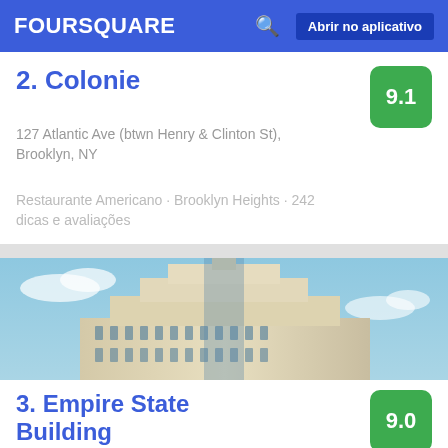FOURSQUARE  Abrir no aplicativo
2. Colonie
9.1
127 Atlantic Ave (btwn Henry & Clinton St), Brooklyn, NY
Restaurante Americano · Brooklyn Heights · 242 dicas e avaliações
[Figure (photo): Upward-angle photo of the Empire State Building against a blue sky with clouds]
3. Empire State Building
9.0
350 5th Ave (btwn 33rd & 34th St), Nova Iorque,